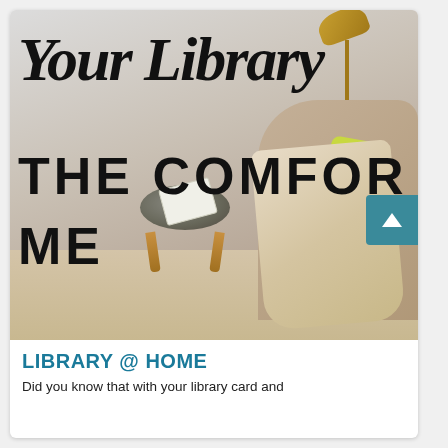[Figure (photo): Cozy reading nook photo with a comfortable armchair draped with a blanket, a furry stool with an open book on top, a gold desk lamp, and a green accent cushion. On the white wall behind are large typographic words in script: 'Your Library' and bold block letters: 'THE COMFORT' and 'ME'. A teal scroll-up button overlays the right side.]
LIBRARY @ HOME
Did you know that with your library card and